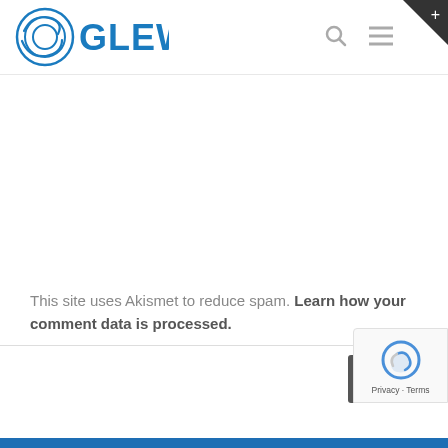[Figure (logo): GLEW logo with circular globe-like icon in blue and the text GLEW in bold blue letters]
This site uses Akismet to reduce spam. Learn how your comment data is processed.